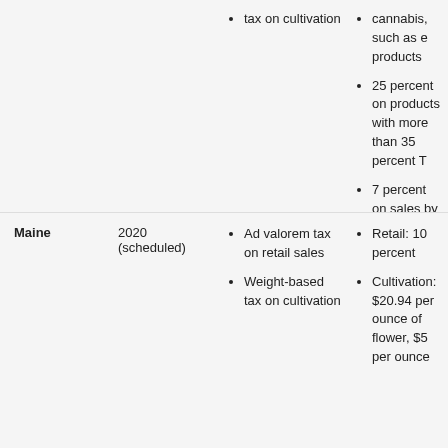tax on cultivation
cannabis, such as e products
25 percent on products with more than 35 percent T
7 percent on sales by cultivators
Maine
2020 (scheduled)
Ad valorem tax on retail sales
Weight-based tax on cultivation
Retail: 10 percent
Cultivation: $20.94 per ounce of flower, $5 per ounce